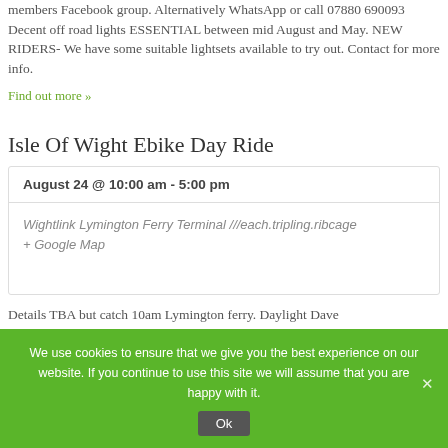members Facebook group. Alternatively WhatsApp or call 07880 690093 Decent off road lights ESSENTIAL between mid August and May. NEW RIDERS- We have some suitable lightsets available to try out. Contact for more info.
Find out more »
Isle Of Wight Ebike Day Ride
| August 24 @ 10:00 am - 5:00 pm |
| Wightlink Lymington Ferry Terminal ///each.tripling.ribcage + Google Map |
Details TBA but catch 10am Lymington ferry. Daylight Dave
We use cookies to ensure that we give you the best experience on our website. If you continue to use this site we will assume that you are happy with it.
Ok